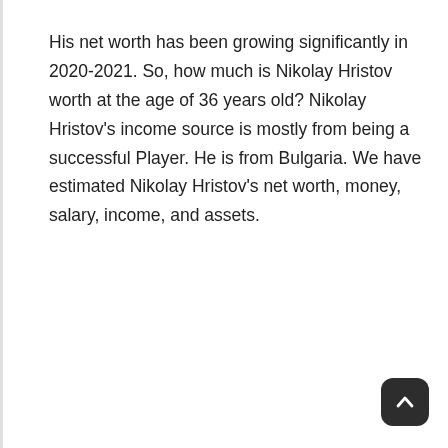His net worth has been growing significantly in 2020-2021. So, how much is Nikolay Hristov worth at the age of 36 years old? Nikolay Hristov's income source is mostly from being a successful Player. He is from Bulgaria. We have estimated Nikolay Hristov's net worth, money, salary, income, and assets.